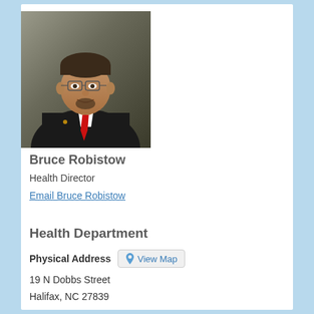[Figure (photo): Professional headshot of Bruce Robistow, a middle-aged man wearing a dark suit with a red tie and glasses, smiling at the camera against a neutral background.]
Bruce Robistow
Health Director
Email Bruce Robistow
Health Department
Physical Address
View Map
19 N Dobbs Street
Halifax, NC 27839